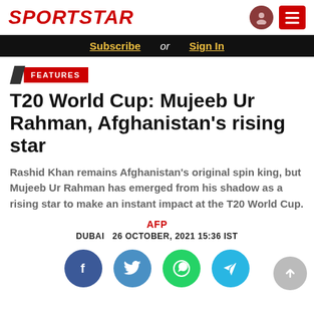SPORTSTAR
Subscribe or Sign In
FEATURES
T20 World Cup: Mujeeb Ur Rahman, Afghanistan's rising star
Rashid Khan remains Afghanistan's original spin king, but Mujeeb Ur Rahman has emerged from his shadow as a rising star to make an instant impact at the T20 World Cup.
AFP
DUBAI  26 OCTOBER, 2021 15:36 IST
[Figure (infographic): Social sharing icons: Facebook, Twitter, WhatsApp, Telegram]